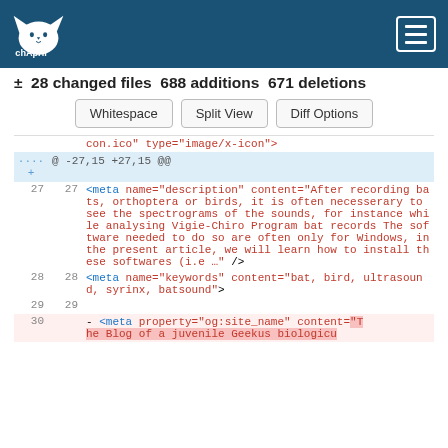chApril [logo] [hamburger menu]
± 28 changed files 688 additions 671 deletions
Whitespace  Split View  Diff Options
con.ico" type="image/x-icon">
@ -27,15 +27,15 @@
27 27   <meta name="description" content="After recording bats, orthoptera or birds, it is often necesserary to see the spectrograms of the sounds, for instance while analysing Vigie-Chiro Program bat records The software needed to do so are often only for Windows, in the present article, we will learn how to install these softwares (i.e …" />
28 28   <meta name="keywords" content="bat, bird, ultrasound, syrinx, batsound">
29 29
30       - <meta property="og:site_name" content="The Blog of a juvenile Geekus biologicu